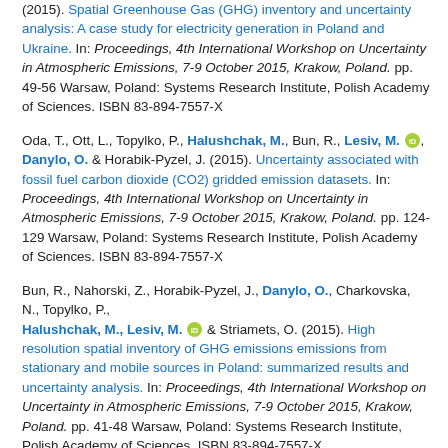(2015). Spatial Greenhouse Gas (GHG) inventory and uncertainty analysis: A case study for electricity generation in Poland and Ukraine. In: Proceedings, 4th International Workshop on Uncertainty in Atmospheric Emissions, 7-9 October 2015, Krakow, Poland. pp. 49-56 Warsaw, Poland: Systems Research Institute, Polish Academy of Sciences. ISBN 83-894-7557-X
Oda, T., Ott, L., Topylko, P., Halushchak, M., Bun, R., Lesiv, M., Danylo, O. & Horabik-Pyzel, J. (2015). Uncertainty associated with fossil fuel carbon dioxide (CO2) gridded emission datasets. In: Proceedings, 4th International Workshop on Uncertainty in Atmospheric Emissions, 7-9 October 2015, Krakow, Poland. pp. 124-129 Warsaw, Poland: Systems Research Institute, Polish Academy of Sciences. ISBN 83-894-7557-X
Bun, R., Nahorski, Z., Horabik-Pyzel, J., Danylo, O., Charkovska, N., Topylko, P., Halushchak, M., Lesiv, M. & Striamets, O. (2015). High resolution spatial inventory of GHG emissions emissions from stationary and mobile sources in Poland: summarized results and uncertainty analysis. In: Proceedings, 4th International Workshop on Uncertainty in Atmospheric Emissions, 7-9 October 2015, Krakow, Poland. pp. 41-48 Warsaw, Poland: Systems Research Institute, Polish Academy of Sciences. ISBN 83-894-7557-X
Conference or Workshop Item